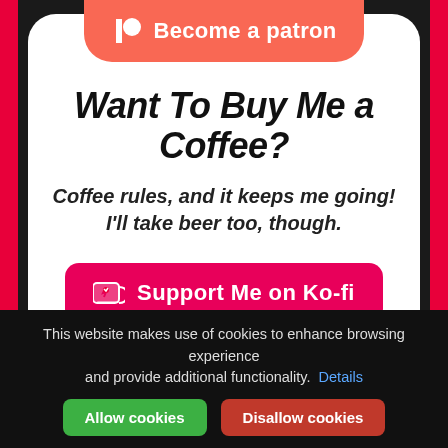[Figure (illustration): Patreon button with Patreon logo and text 'Become a patron' on salmon/red background]
Want To Buy Me a Coffee?
Coffee rules, and it keeps me going! I'll take beer too, though.
[Figure (illustration): Ko-fi support button with heart/coffee cup icon on deep pink background, text: Support Me on Ko-fi]
[Figure (illustration): Pixel art character - a retro game style figure with checkered hat]
This website makes use of cookies to enhance browsing experience and provide additional functionality. Details
Allow cookies
Disallow cookies